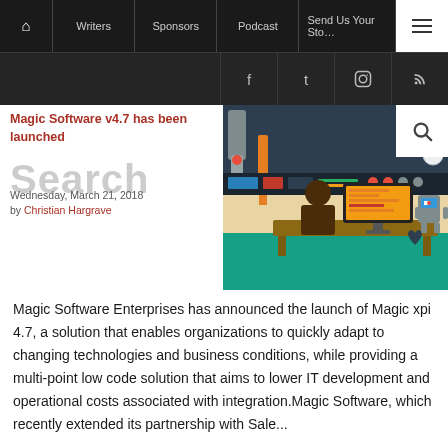🏠  Writers  Sponsors  Podcast  Send Us Your Story  ☰
[Figure (illustration): Social media icons bar: Facebook, Twitter, Instagram, RSS on dark background]
Magic Software v4.7 has been launched
Wednesday, March 21, 2018
by Christian Hargrave
[Figure (illustration): Flat design illustration of a person working at a computer with robotic arm machinery in the background and tech equipment]
Magic Software Enterprises has announced the launch of Magic xpi 4.7, a solution that enables organizations to quickly adapt to changing technologies and business conditions, while providing a multi-point low code solution that aims to lower IT development and operational costs associated with integration.Magic Software, which recently extended its partnership with Sale...